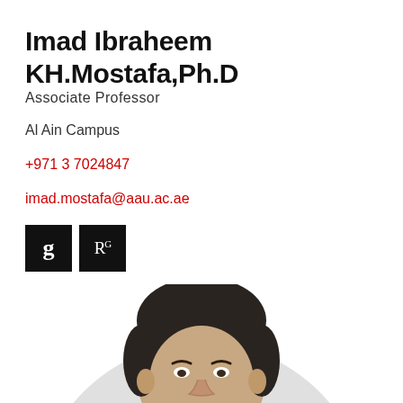Imad Ibraheem KH.Mostafa,Ph.D
Associate Professor
Al Ain Campus
+971 3 7024847
imad.mostafa@aau.ac.ae
[Figure (other): Social profile icon buttons: Google Scholar (g) and ResearchGate (R^G) black square icons]
[Figure (photo): Circular profile photo of a middle-aged man with short dark hair, slight stubble, wearing a white shirt, cropped at chin/neck level inside a light gray circle]